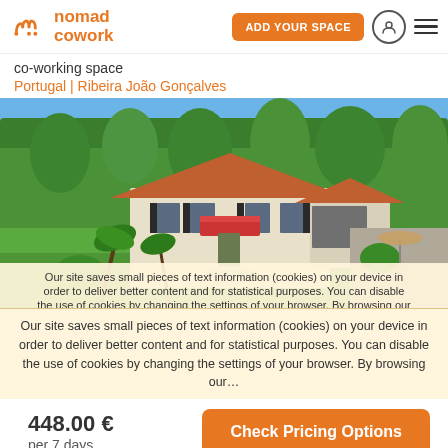nomad cowork — ADD YOUR SPACE
co-working space
Portugal | Ribeira João Gonçalves
[Figure (photo): Aerial/elevated photo of a two-story Portuguese house with terracotta roof tiles, surrounded by lush green trees and landscaped gardens with palm trees and shrubs.]
Our site saves small pieces of text information (cookies) on your device in order to deliver better content and for statistical purposes. You can disable the use of cookies by changing the settings of your browser. By browsing our website without changing the browser settings you grant us permission to store that information on your device.
448.00 €
per 7 days
Check Pricing Options